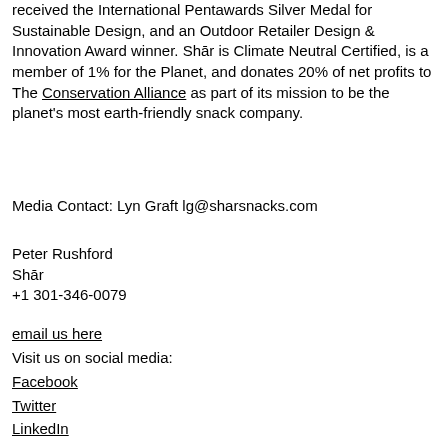received the International Pentawards Silver Medal for Sustainable Design, and an Outdoor Retailer Design & Innovation Award winner. Shār is Climate Neutral Certified, is a member of 1% for the Planet, and donates 20% of net profits to The Conservation Alliance as part of its mission to be the planet's most earth-friendly snack company.
Media Contact: Lyn Graft lg@sharsnacks.com
Peter Rushford
Shār
+1 301-346-0079
email us here
Visit us on social media:
Facebook
Twitter
LinkedIn
Other